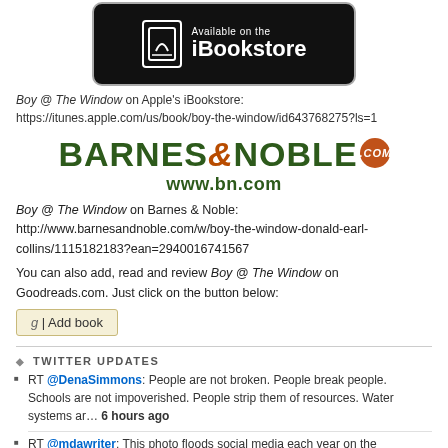[Figure (logo): Apple iBookstore badge — black rounded rectangle with book icon and text 'Available on the iBookstore']
Boy @ The Window on Apple's iBookstore: https://itunes.apple.com/us/book/boy-the-window/id643768275?ls=1
[Figure (logo): Barnes & Noble logo with BARNES&NOBLE.com text in green and orange ampersand, with .com badge and www.bn.com URL below]
Boy @ The Window on Barnes & Noble: http://www.barnesandnoble.com/w/boy-the-window-donald-earl-collins/1115182183?ean=2940016741567
You can also add, read and review Boy @ The Window on Goodreads.com. Just click on the button below:
[Figure (other): Goodreads 'Add book' button]
TWITTER UPDATES
RT @DenaSimmons: People are not broken. People break people. Schools are not impoverished. People strip them of resources. Water systems ar… 6 hours ago
RT @mdawriter: This photo floods social media each year on the